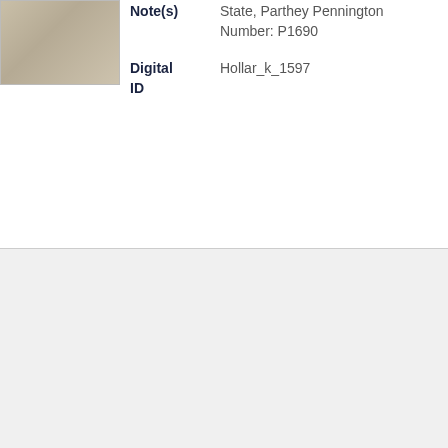[Figure (photo): Small thumbnail image of an artwork or print, faded brownish tones]
Note(s)
State, Parthey Pennington Number: P1690
Digital ID
Hollar_k_1597
[Figure (logo): University of Toronto Libraries crest and wordmark logo]
Web accessibility and requesting alternate formats
Copyright © 2017 University of Toronto